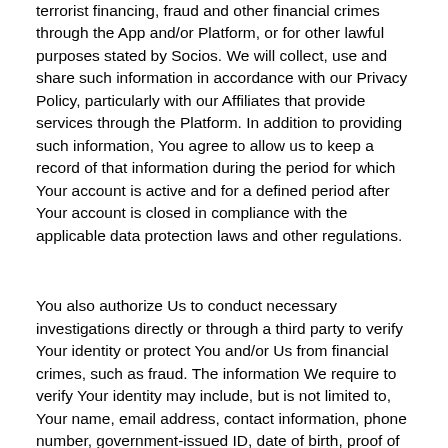terrorist financing, fraud and other financial crimes through the App and/or Platform, or for other lawful purposes stated by Socios. We will collect, use and share such information in accordance with our Privacy Policy, particularly with our Affiliates that provide services through the Platform. In addition to providing such information, You agree to allow us to keep a record of that information during the period for which Your account is active and for a defined period after Your account is closed in compliance with the applicable data protection laws and other regulations.
You also authorize Us to conduct necessary investigations directly or through a third party to verify Your identity or protect You and/or Us from financial crimes, such as fraud. The information We require to verify Your identity may include, but is not limited to, Your name, email address, contact information, phone number, government-issued ID, date of birth, proof of address, source of wealth and income and other information collected during account registration which depends on the amounts spent or